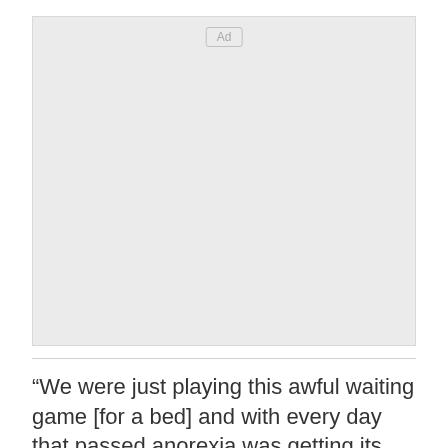[Figure (other): Advertisement placeholder box with 'Ad' label button in top center, light gray background]
“We were just playing this awful waiting game [for a bed] and with every day that passed anorexia was getting its claws deeper into